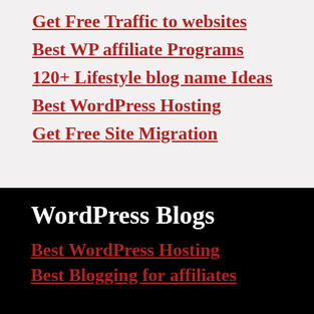Get Free Traffic to websites
Best WP affiliate Programs
120+ Lifestyle blog name Ideas
Best WordPress Hosting
Get Free Site Migration
WordPress Blogs
Best WordPress Hosting
Best Blogging for affiliates